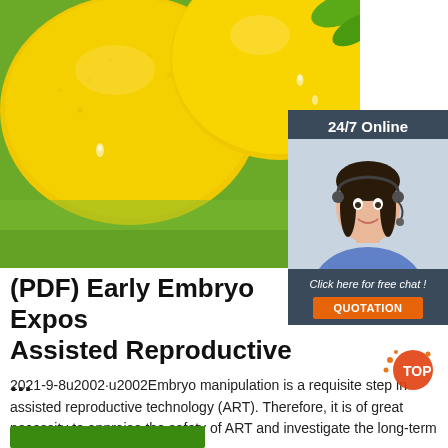[Figure (photo): Close-up photo of yellow lemons with water droplets, green leaves in background]
[Figure (infographic): 24/7 Online chat widget with dark blue background, woman with headset, 'Click here for free chat!' text, and orange QUOTATION button]
(PDF) Early Embryo Exposure Assisted Reproductive ...
2021-9-8u2002·u2002Embryo manipulation is a requisite step in assisted reproductive technology (ART). Therefore, it is of great necessity to appraise the safety of ART and investigate the long-term effect, including ...